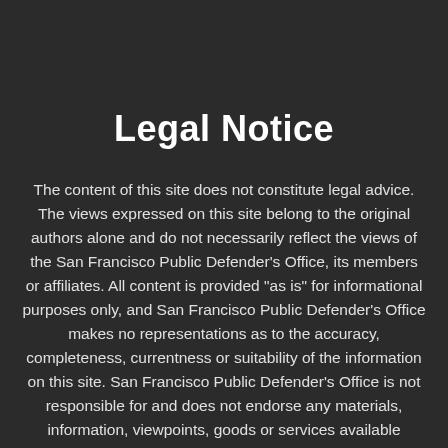Legal Notice
The content of this site does not constitute legal advice. The views expressed on this site belong to the original authors alone and do not necessarily reflect the views of the San Francisco Public Defender's Office, its members or affiliates. All content is provided "as is" for informational purposes only, and San Francisco Public Defender's Office makes no representations as to the accuracy, completeness, currentness or suitability of the information on this site. San Francisco Public Defender's Office is not responsible for and does not endorse any materials, information, viewpoints, goods or services available through third party sites linked from this site. All images,